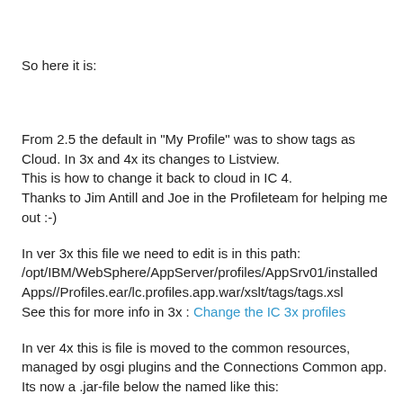So here it is:
From 2.5 the default in "My Profile" was to show tags as Cloud. In 3x and 4x its changes to Listview.
This is how to change it back to cloud in IC 4.
Thanks to Jim Antill and Joe in the Profileteam for helping me out :-)
In ver 3x this file we need to edit is in this path:
/opt/IBM/WebSphere/AppServer/profiles/AppSrv01/installedApps//Profiles.ear/lc.profiles.app.war/xslt/tags/tags.xsl
See this for more info in 3x : Change the IC 3x profiles
In ver 4x this is file is moved to the common resources, managed by osgi plugins and the Connections Common app.
Its now a .jar-file below the named like this: